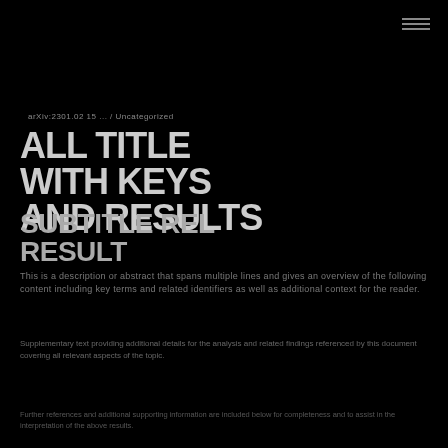≡ menu icon
arXiv:2301.05 ... / Uncategorized
TITLE IN LARGE BOLD TEXT ACROSS TWO LINES
SUBTITLE OR SUBHEADING
Description or abstract text spanning multiple lines about this paper or document
Body text content with additional details about the research or topic
Footer or references text at the bottom of the page